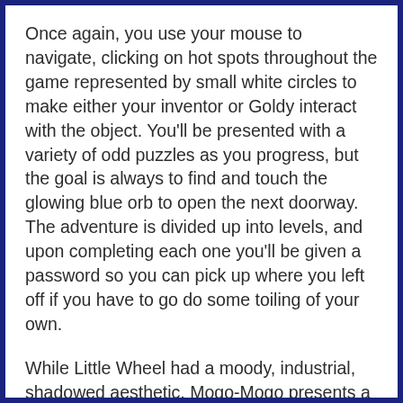Once again, you use your mouse to navigate, clicking on hot spots throughout the game represented by small white circles to make either your inventor or Goldy interact with the object. You'll be presented with a variety of odd puzzles as you progress, but the goal is always to find and touch the glowing blue orb to open the next doorway. The adventure is divided up into levels, and upon completing each one you'll be given a password so you can pick up where you left off if you have to go do some toiling of your own.
While Little Wheel had a moody, industrial, shadowed aesthetic, Mogo-Mogo presents a vibrant world full of strange landscapes and stranger creatures. Sky whales, flying portal worms, and giant... bouncing... colour changing... um, things, abound in this dreamworld that make it a joy to explore, even if the